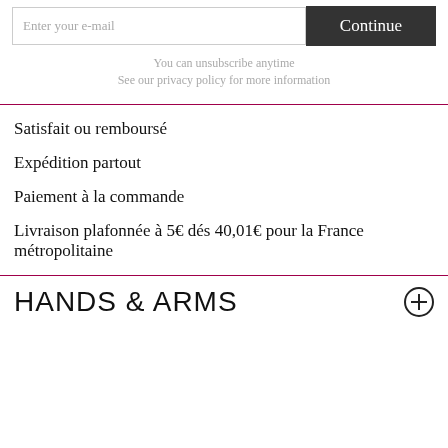Enter your e-mail
Continue
You can unsubscribe anytime
See our privacy policy for more information
Satisfait ou remboursé
Expédition partout
Paiement à la commande
Livraison plafonnée à 5€ dés 40,01€ pour la France métropolitaine
HANDS & ARMS